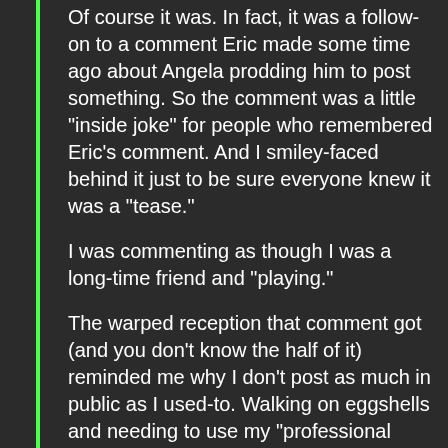Of course it was. In fact, it was a follow-on to a comment Eric made some time ago about Angela prodding him to post something. So the comment was a little "inside joke" for people who remembered Eric's comment. And I smiley-faced behind it just to be sure everyone knew it was a "tease."
I was commenting as though I was a long-time friend and "playing."
The warped reception that comment got (and you don't know the half of it) reminded me why I don't post as much in public as I used-to. Walking on eggshells and needing to use my "professional voice" when engaged in my hobby just wears me out. I have a hobby to get away from